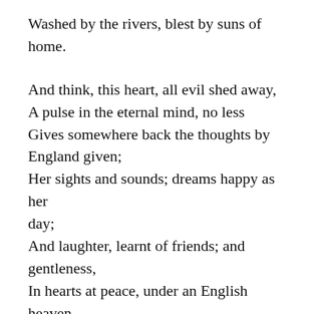Washed by the rivers, blest by suns of home.
And think, this heart, all evil shed away,
A pulse in the eternal mind, no less
Gives somewhere back the thoughts by England given;
Her sights and sounds; dreams happy as her day;
And laughter, learnt of friends; and gentleness,
In hearts at peace, under an English heaven.
NOTES
This sonnet finds a soldier speculating as he goes away to war about his possible death, which he feels should not be mourned, but